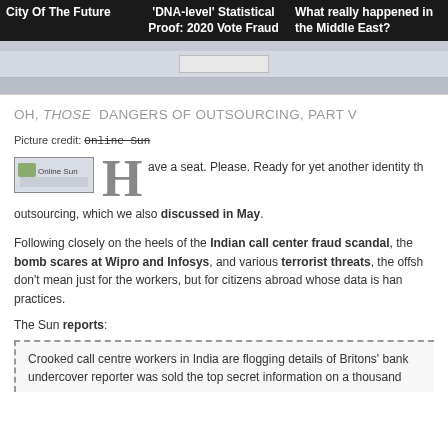City Of The Future | 'DNA-level' Statistical Proof: 2020 Vote Fraud | What really happened in the Middle East?
OH, THOSE DANGERS OF OUTSOURCING, PART V
Picture credit: Online Sun
[Figure (photo): Online Sun thumbnail image]
Have a seat. Please. Ready for yet another identity th... outsourcing, which we also discussed in May.
Following closely on the heels of the Indian call center fraud scandal, the bomb scares at Wipro and Infosys, and various terrorist threats, the offshore don't mean just for the workers, but for citizens abroad whose data is handled practices.
The Sun reports:
Crooked call centre workers in India are flogging details of Britons' bank... undercover reporter was sold the top secret information on a thousand...